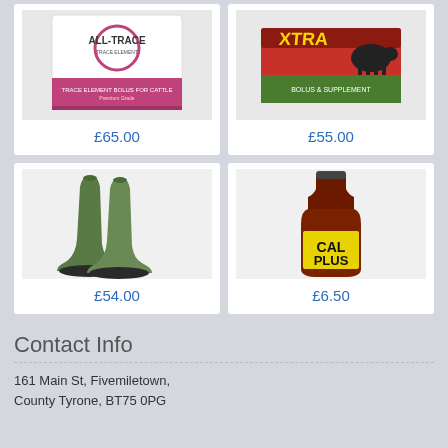[Figure (photo): ALL-TRACE trace element bolus for cattle product box, white and pink packaging]
£65.00
[Figure (photo): XTRA cattle supplement product box, red and green packaging with cow image]
£55.00
[Figure (photo): Green rubber Wellington boots / wellies]
£54.00
[Figure (photo): CAL PLUS liquid supplement bottle, dark brown bottle with yellow label]
£6.50
Contact Info
161 Main St, Fivemiletown,
County Tyrone, BT75 0PG